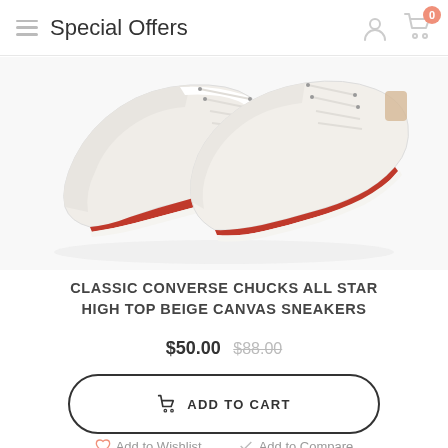Special Offers
[Figure (photo): Two white Converse Chuck Taylor All Star high-top sneakers photographed from above on a white background, showing laces and the classic red and navy sole stripe.]
CLASSIC CONVERSE CHUCKS ALL STAR HIGH TOP BEIGE CANVAS SNEAKERS
$50.00  $88.00
ADD TO CART
Add to Wishlist   Add to Compare